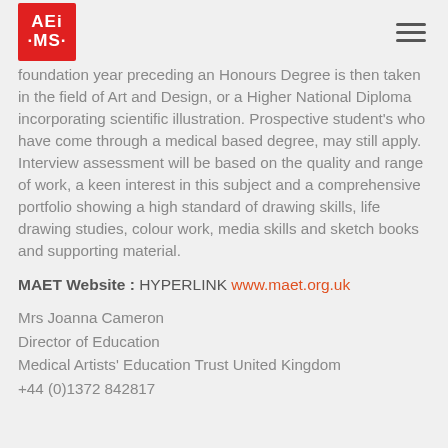AEI MS logo and navigation
foundation year preceding an Honours Degree is then taken in the field of Art and Design, or a Higher National Diploma incorporating scientific illustration. Prospective student's who have come through a medical based degree, may still apply. Interview assessment will be based on the quality and range of work, a keen interest in this subject and a comprehensive portfolio showing a high standard of drawing skills, life drawing studies, colour work, media skills and sketch books and supporting material.
MAET Website : HYPERLINK www.maet.org.uk
Mrs Joanna Cameron
Director of Education
Medical Artists' Education Trust United Kingdom
+44 (0)1372 842817